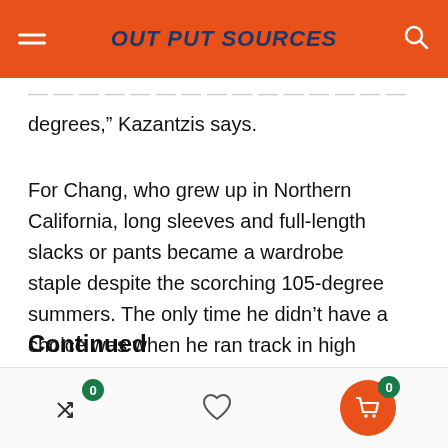OUT PUT SOURCES
degrees,” Kazantzis says.
For Chang, who grew up in Northern California, long sleeves and full-length slacks or pants became a wardrobe staple despite the scorching 105-degree summers. The only time he didn’t have a choice was when he ran track in high school, a sport he loved. Chang just wanted to run but couldn’t help feeling “self-conscious all the time.”
Continued
0  [heart icon]  0 [cart icon]